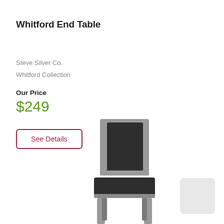Whitford End Table
Steve Silver Co.
Whitford Collection
Our Price
$249
See Details
[Figure (photo): Gray upholstered dining chair with dark fabric seat and back, light gray wooden frame legs, photographed from the front-left angle.]
[Figure (photo): Small thumbnail preview image placeholder in light gray.]